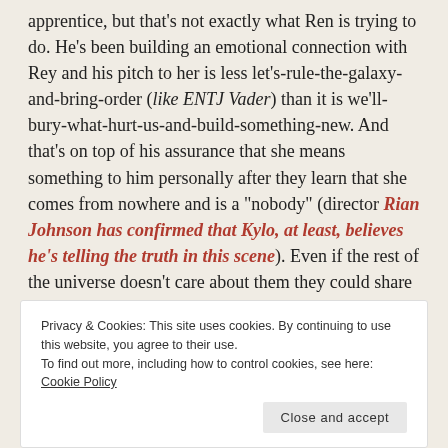apprentice, but that's not exactly what Ren is trying to do. He's been building an emotional connection with Rey and his pitch to her is less let's-rule-the-galaxy-and-bring-order (like ENTJ Vader) than it is we'll-bury-what-hurt-us-and-build-something-new. And that's on top of his assurance that she means something to him personally after they learn that she comes from nowhere and is a "nobody" (director Rian Johnson has confirmed that Kylo, at least, believes he's telling the truth in this scene). Even if the rest of the universe doesn't care about them they could share a connection that would reshape the entire galaxy.
[Figure (other): Partial view of a 'subscriptions online' banner with a blue shape graphic and a purple button, partially obscured by a cookie consent banner.]
Privacy & Cookies: This site uses cookies. By continuing to use this website, you agree to their use. To find out more, including how to control cookies, see here: Cookie Policy
Close and accept